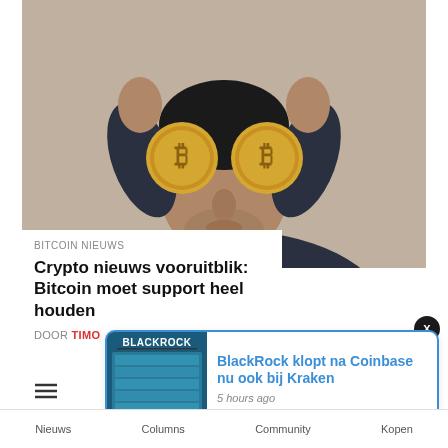[Figure (photo): Man holding two Bitcoin coins in front of his eyes like glasses, wearing dark sweater, gray background]
BITCOIN NIEUWS
Crypto nieuws vooruitblik: Bitcoin moet support heel houden
DOOR TIMO
[Figure (photo): BlackRock building/logo image used as thumbnail in popup notification]
BlackRock klopt na Coinbase nu ook bij Kraken
5 hours ago
Nieuws   Columns   Community   Kopen